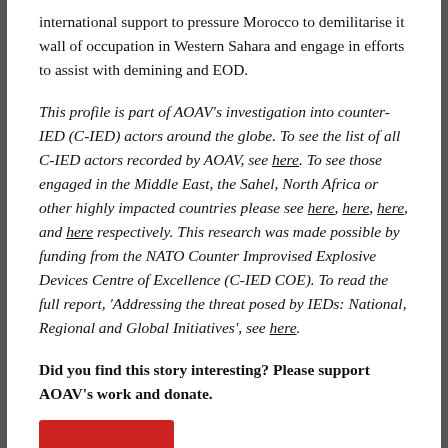international support to pressure Morocco to demilitarise it wall of occupation in Western Sahara and engage in efforts to assist with demining and EOD.
This profile is part of AOAV's investigation into counter-IED (C-IED) actors around the globe. To see the list of all C-IED actors recorded by AOAV, see here. To see those engaged in the Middle East, the Sahel, North Africa or other highly impacted countries please see here, here, here, and here respectively. This research was made possible by funding from the NATO Counter Improvised Explosive Devices Centre of Excellence (C-IED COE). To read the full report, 'Addressing the threat posed by IEDs: National, Regional and Global Initiatives', see here.
Did you find this story interesting? Please support AOAV's work and donate.